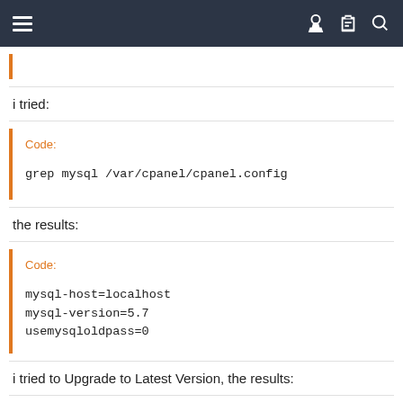i tried:
Code:
grep mysql /var/cpanel/cpanel.config
the results:
Code:
mysql-host=localhost
mysql-version=5.7
usemysqloldpass=0
i tried to Upgrade to Latest Version, the results:
Code: